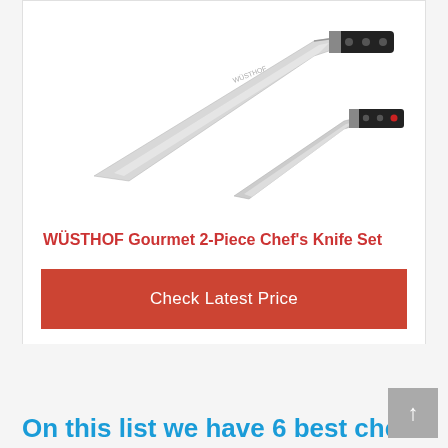[Figure (photo): Two Wüsthof Gourmet knives crossed/overlapping — a large chef's knife and a smaller utility/paring knife, both with black handles with rivets and silver blades, on a white background.]
WÜSTHOF Gourmet 2-Piece Chef's Knife Set
Check Latest Price
On this list we have 6 best chef